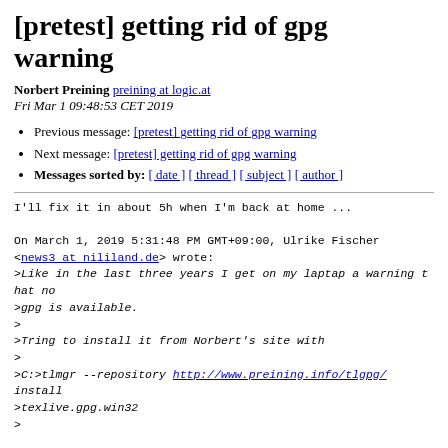[pretest] getting rid of gpg warning
Norbert Preining preining at logic.at
Fri Mar 1 09:48:53 CET 2019
Previous message: [pretest] getting rid of gpg warning
Next message: [pretest] getting rid of gpg warning
Messages sorted by: [ date ] [ thread ] [ subject ] [ author ]
I'll fix it in about 5h when I'm back at home ...

On March 1, 2019 5:31:48 PM GMT+09:00, Ulrike Fischer
<news3 at nililand.de> wrote:
>Like in the last three years I get on my laptap a warning that no
>gpg is available.
>
>Tring to install it from Norbert's site with
>
>C:>tlmgr --repository http://www.preining.info/tlgpg/ install
>texlive.gpg.win32
>